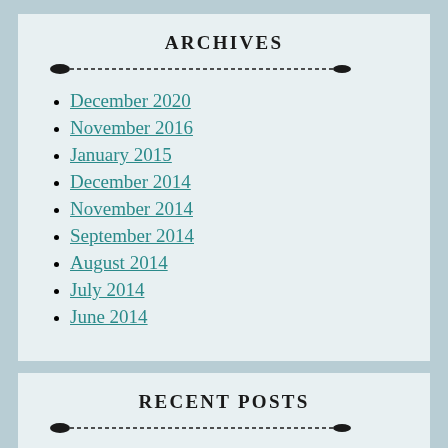ARCHIVES
December 2020
November 2016
January 2015
December 2014
November 2014
September 2014
August 2014
July 2014
June 2014
RECENT POSTS